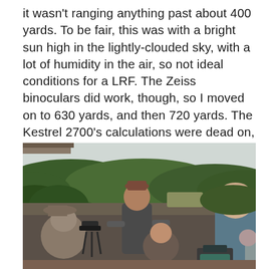it wasn't ranging anything past about 400 yards. To be fair, this was with a bright sun high in the lightly-clouded sky, with a lot of humidity in the air, so not ideal conditions for a LRF. The Zeiss binoculars did work, though, so I moved on to 630 yards, and then 720 yards. The Kestrel 2700's calculations were dead on, sans requiring a touch of windage adjustment for spin drift; I verified it with my Kestrel 5700, and it was within a couple mils on elevation.
[Figure (photo): Outdoor shooting range scene with several people, a person in the center speaking to a group, surrounded by wooded hills in the background. A spotting scope on a tripod is visible on the left.]